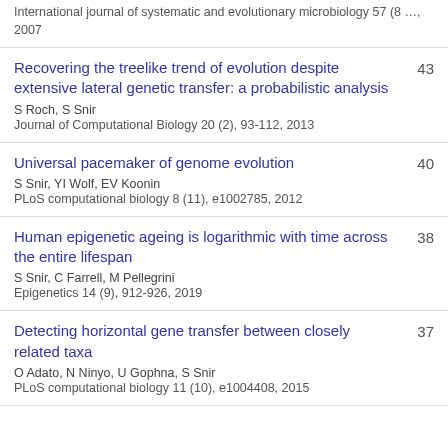International journal of systematic and evolutionary microbiology 57 (8 …, 2007
Recovering the treelike trend of evolution despite extensive lateral genetic transfer: a probabilistic analysis
S Roch, S Snir
Journal of Computational Biology 20 (2), 93-112, 2013
43
Universal pacemaker of genome evolution
S Snir, YI Wolf, EV Koonin
PLoS computational biology 8 (11), e1002785, 2012
40
Human epigenetic ageing is logarithmic with time across the entire lifespan
S Snir, C Farrell, M Pellegrini
Epigenetics 14 (9), 912-926, 2019
38
Detecting horizontal gene transfer between closely related taxa
O Adato, N Ninyo, U Gophna, S Snir
PLoS computational biology 11 (10), e1004408, 2015
37